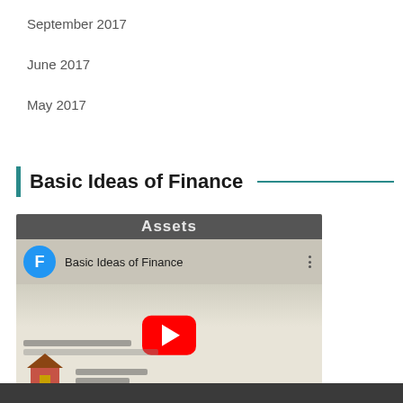September 2017
June 2017
May 2017
Basic Ideas of Finance
[Figure (screenshot): YouTube video thumbnail for 'Basic Ideas of Finance' showing a play button, user avatar with letter F, video title, and illustrated content about finance including gold coins and a house icon.]